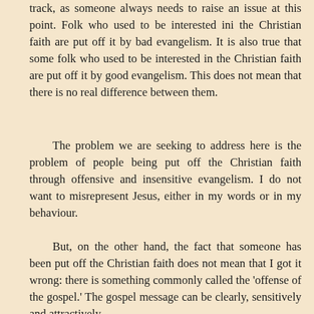track, as someone always needs to raise an issue at this point. Folk who used to be interested ini the Christian faith are put off it by bad evangelism. It is also true that some folk who used to be interested in the Christian faith are put off it by good evangelism. This does not mean that there is no real difference between them.
The problem we are seeking to address here is the problem of people being put off the Christian faith through offensive and insensitive evangelism. I do not want to misrepresent Jesus, either in my words or in my behaviour.
But, on the other hand, the fact that someone has been put off the Christian faith does not mean that I got it wrong: there is something commonly called the 'offense of the gospel.' The gospel message can be clearly, sensitively and attractively